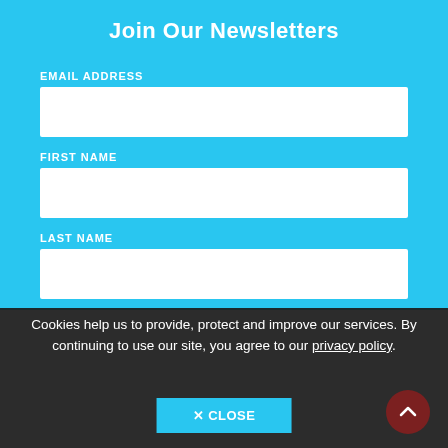Join Our Newsletters
EMAIL ADDRESS
FIRST NAME
LAST NAME
Click to select your chosen newsletters
Cookies help us to provide, protect and improve our services. By continuing to use our site, you agree to our privacy policy.
✕ CLOSE